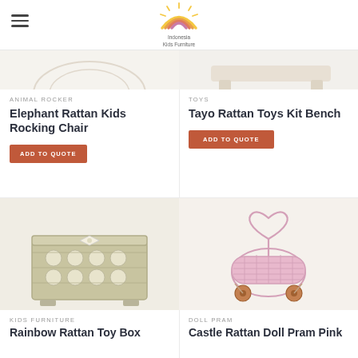[Figure (logo): Indonesia Kids Furniture rainbow logo with sun rays]
ANIMAL ROCKER
Elephant Rattan Kids Rocking Chair
ADD TO QUOTE
TOYS
Tayo Rattan Toys Kit Bench
ADD TO QUOTE
[Figure (photo): Woven rattan toy box with white fabric lining and bow tie decoration]
[Figure (photo): Pink rattan doll pram with heart-shaped handle and wooden wheels]
KIDS FURNITURE
Rainbow Rattan Toy Box
DOLL PRAM
Castle Rattan Doll Pram Pink